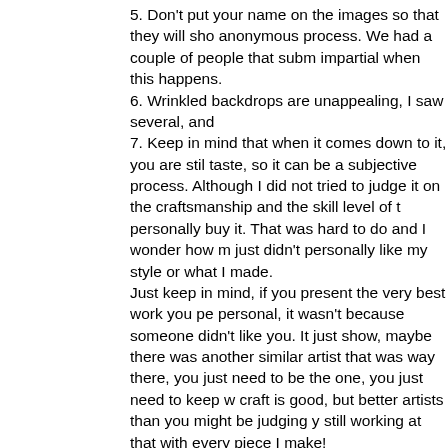5. Don't put your name on the images so that they will sho anonymous process. We had a couple of people that subm impartial when this happens.
6. Wrinkled backdrops are unappealing, I saw several, and
7. Keep in mind that when it comes down to it, you are stil taste, so it can be a subjective process. Although I did not tried to judge it on the craftsmanship and the skill level of t personally buy it. That was hard to do and I wonder how m just didn't personally like my style or what I made.
Just keep in mind, if you present the very best work you pe personal, it wasn't because someone didn't like you. It just show, maybe there was another similar artist that was way there, you just need to be the one, you just need to keep w craft is good, but better artists than you might be judging y still working at that with every piece I make!
I hope this helps. I highly recommend sitting on a jury if yo perspective when presenting your own work. I know it help I have volunteered to speak with those that were rejected also think this is a helpful step in understanding why you d better the next time. I hope I don't make anyone mad! You opinions......